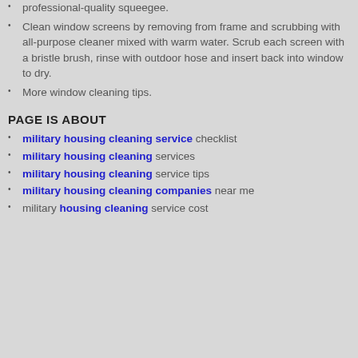Clean large and hard to reach windows with a professional-quality squeegee.
Clean window screens by removing from frame and scrubbing with all-purpose cleaner mixed with warm water. Scrub each screen with a bristle brush, rinse with outdoor hose and insert back into window to dry.
More window cleaning tips.
PAGE IS ABOUT
military housing cleaning service checklist
military housing cleaning services
military housing cleaning service tips
military housing cleaning companies near me
military housing cleaning service cost